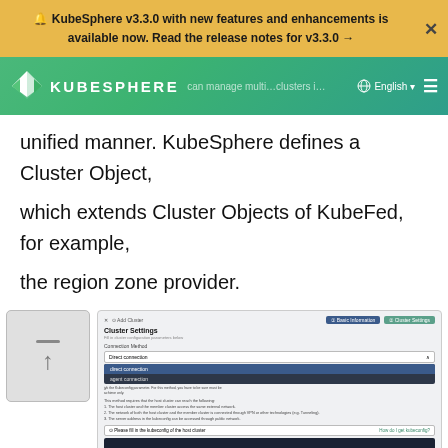🔔 KubeSphere v3.3.0 with new features and enhancements is available now. Read the release notes for v3.3.0 →
[Figure (screenshot): KubeSphere navigation bar with logo, English language selector, and hamburger menu on green gradient background]
unified manner. KubeSphere defines a Cluster Object, which extends Cluster Objects of KubeFed, for example, the region zone provider.
[Figure (screenshot): KubeSphere UI screenshot showing Add Cluster dialog with Cluster Settings panel, Connection Method dropdown menu open showing 'direct connection' and 'agent connection' options, and a kubeconfig input area at the bottom]